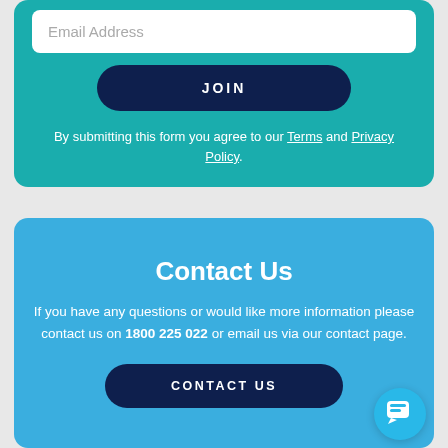Email Address
JOIN
By submitting this form you agree to our Terms and Privacy Policy.
Contact Us
If you have any questions or would like more information please contact us on 1800 225 022 or email us via our contact page.
CONTACT US